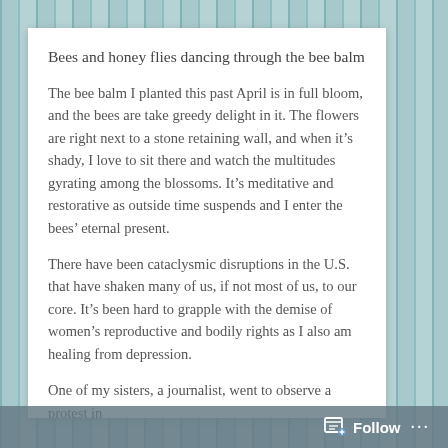Bees and honey flies dancing through the bee balm
The bee balm I planted this past April is in full bloom, and the bees are take greedy delight in it. The flowers are right next to a stone retaining wall, and when it’s shady, I love to sit there and watch the multitudes gyrating among the blossoms. It’s meditative and restorative as outside time suspends and I enter the bees’ eternal present.
There have been cataclysmic disruptions in the U.S. that have shaken many of us, if not most of us, to our core. It’s been hard to grapple with the demise of women’s reproductive and bodily rights as I also am healing from depression.
One of my sisters, a journalist, went to observe a protest in
Follow ...